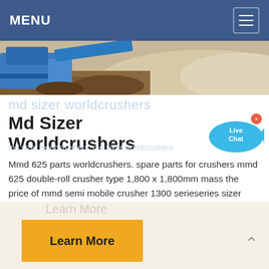MENU
[Figure (photo): Aerial/overhead photo of a mining or quarrying site with blue machinery and sandy/rocky terrain]
md sizer worldcrushers
Md Sizer Worldcrushers
[Figure (illustration): Blue speech bubble with 'Live Chat' text and a fish tail shape, with an x close button]
md sizer worldcrushers. md sizer worldcrushers
Mmd 625 parts worldcrushers. spare parts for crushers mmd 625 double-roll crusher type 1,800 x 1,800mm mass the price of mmd semi mobile crusher 1300 serieseries sizer mmd buy or sell. semi mobile crusher station jaw crusher
Learn More
Learn More